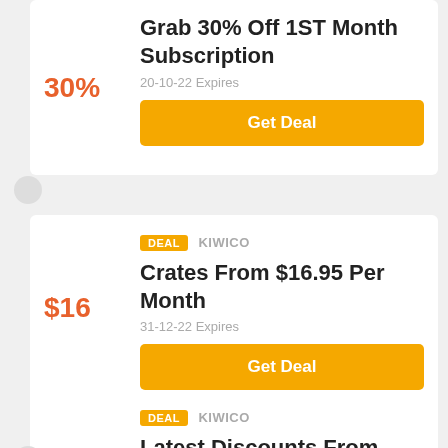Grab 30% Off 1ST Month Subscription
20-10-22 Expires
Get Deal
DEAL  KIWICO
Crates From $16.95 Per Month
31-12-22 Expires
Get Deal
DEAL  KIWICO
Latest Discounts From